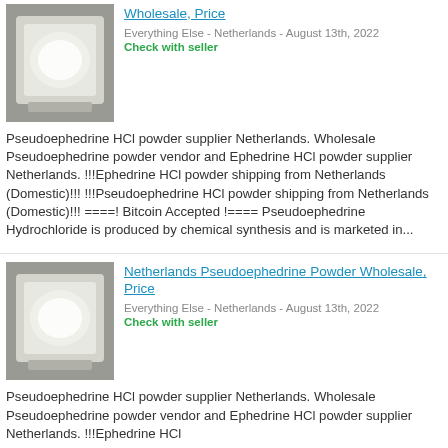[Figure (photo): Bag of white powder in plastic bag - top listing thumbnail]
Wholesale, Price
Everything Else - Netherlands - August 13th, 2022
Check with seller
Pseudoephedrine HCl powder supplier Netherlands. Wholesale Pseudoephedrine powder vendor and Ephedrine HCl powder supplier Netherlands. !!!Ephedrine HCl powder shipping from Netherlands (Domestic)!!! !!!Pseudoephedrine HCl powder shipping from Netherlands (Domestic)!!! ====! Bitcoin Accepted !==== Pseudoephedrine Hydrochloride is produced by chemical synthesis and is marketed in...
[Figure (photo): Bag of white powder in plastic bag - second listing thumbnail]
Netherlands Pseudoephedrine Powder Wholesale, Price
Everything Else - Netherlands - August 13th, 2022
Check with seller
Pseudoephedrine HCl powder supplier Netherlands. Wholesale Pseudoephedrine powder vendor and Ephedrine HCl powder supplier Netherlands. !!!Ephedrine HCl